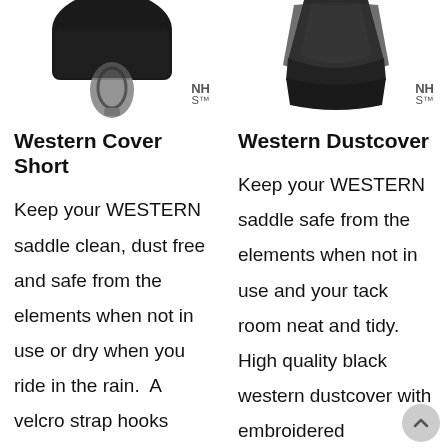[Figure (photo): Product photo of Western Cover Short - black saddle cover with metal hook clasp, showing top portion. NH logo badge visible.]
[Figure (photo): Product photo of Western Dustcover - black fabric saddle dustcover, showing top portion. NH logo badge visible.]
Western Cover Short
Western Dustcover
Keep your WESTERN saddle clean, dust free and safe from the elements when not in use or dry when you ride in the rain.  A velcro strap hooks behind
Keep your WESTERN saddle safe from the elements when not in use and your tack room neat and tidy. High quality black  western dustcover with embroidered